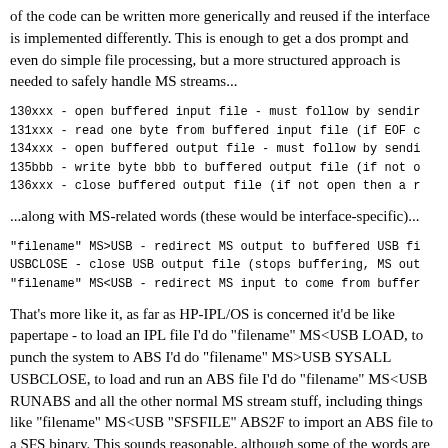of the code can be written more generically and reused if the interface is implemented differently. This is enough to get a dos prompt and even do simple file processing, but a more structured approach is needed to safely handle MS streams...
130xxx - open buffered input file - must follow by sendin
131xxx - read one byte from buffered input file (if EOF c
134xxx - open buffered output file - must follow by sendi
135bbb - write byte bbb to buffered output file (if not o
136xxx - close buffered output file (if not open then a r
...along with MS-related words (these would be interface-specific)...
"filename" MS>USB - redirect MS output to buffered USB f
USBCLOSE - close USB output file (stops buffering, MS out
"filename" MS<USB - redirect MS input to come from buffer
That's more like it, as far as HP-IPL/OS is concerned it'd be like papertape - to load an IPL file I'd do "filename" MS<USB LOAD, to punch the system to ABS I'd do "filename" MS>USB SYSALL USBCLOSE, to load and run an ABS file I'd do "filename" MS<USB RUNABS and all the other normal MS stream stuff, including things like "filename" MS<USB "SFSFILE" ABS2F to import an ABS file to a SFS binary. This sounds reasonable, although some of the words are specific to the IDE interface the general functions are not and VDRIVE2-aware app code could be